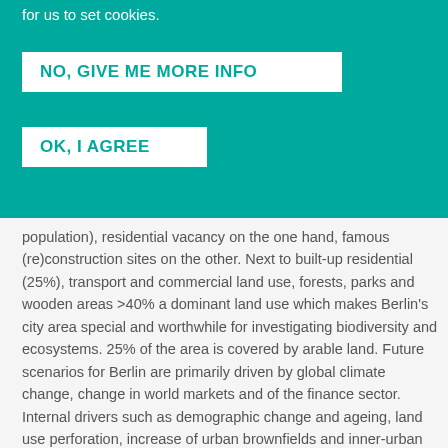for us to set cookies.
NO, GIVE ME MORE INFO
OK, I AGREE
population), residential vacancy on the one hand, famous (re)construction sites on the other. Next to built-up residential (25%), transport and commercial land use, forests, parks and wooden areas >40% a dominant land use which makes Berlin's city area special and worthwhile for investigating biodiversity and ecosystems. 25% of the area is covered by arable land. Future scenarios for Berlin are primarily driven by global climate change, change in world markets and of the finance sector. Internal drivers such as demographic change and ageing, land use perforation, increase of urban brownfields and inner-urban reurbanisation affect the city region. In terms of ecosystem functions and services, Berlin will be affected by climate change and heat waves (several times in the last decade), increase of poverty and